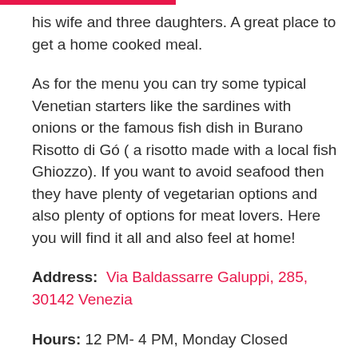his wife and three daughters. A great place to get a home cooked meal.
As for the menu you can try some typical Venetian starters like the sardines with onions or the famous fish dish in Burano Risotto di Gó ( a risotto made with a local fish Ghiozzo). If you want to avoid seafood then they have plenty of vegetarian options and also plenty of options for meat lovers. Here you will find it all and also feel at home!
Address: Via Baldassarre Galuppi, 285, 30142 Venezia
Hours: 12 PM- 4 PM, Monday Closed